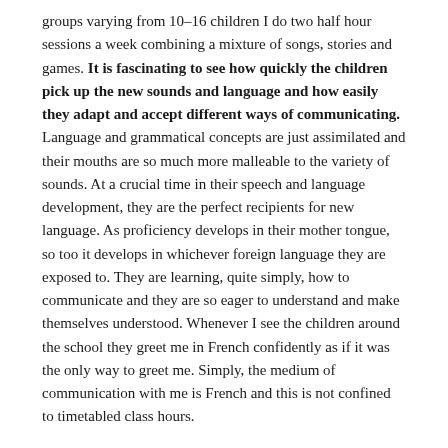groups varying from 10–16 children I do two half hour sessions a week combining a mixture of songs, stories and games. It is fascinating to see how quickly the children pick up the new sounds and language and how easily they adapt and accept different ways of communicating. Language and grammatical concepts are just assimilated and their mouths are so much more malleable to the variety of sounds. At a crucial time in their speech and language development, they are the perfect recipients for new language. As proficiency develops in their mother tongue, so too it develops in whichever foreign language they are exposed to. They are learning, quite simply, how to communicate and they are so eager to understand and make themselves understood. Whenever I see the children around the school they greet me in French confidently as if it was the only way to greet me. Simply, the medium of communication with me is French and this is not confined to timetabled class hours.